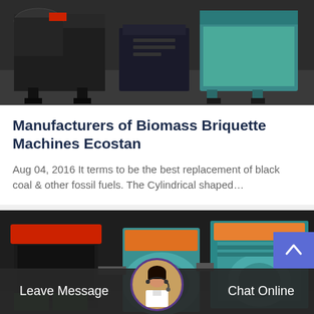[Figure (photo): Industrial biomass briquette machines in a factory setting, dark grey and teal/cyan colored equipment]
Manufacturers of Biomass Briquette Machines Ecostan
Aug 04, 2016 It terms to be the best replacement of black coal & other fossil fuels. The Cylindrical shaped…
[Figure (photo): Industrial briquette press machines with red and teal colored hoppers in a factory setting]
Leave Message
Chat Online